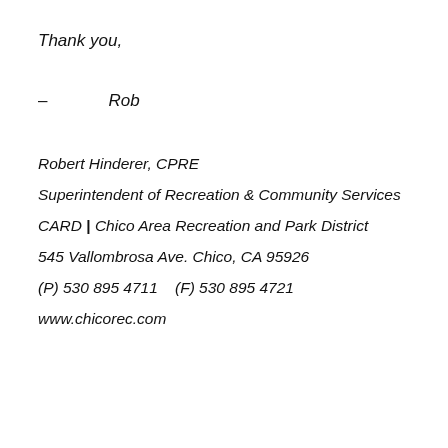Thank you,
– Rob
Robert Hinderer, CPRE
Superintendent of Recreation & Community Services
CARD | Chico Area Recreation and Park District
545 Vallombrosa Ave. Chico, CA 95926
(P) 530 895 4711    (F) 530 895 4721
www.chicorec.com